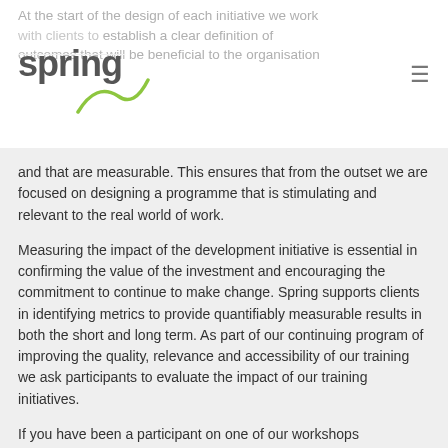At the start of the design of each initiative we work with clients to establish a clear definition of outcomes that will be beneficial to the organisation
[Figure (logo): Spring logo with swoosh graphic]
and that are measurable. This ensures that from the outset we are focused on designing a programme that is stimulating and relevant to the real world of work.
Measuring the impact of the development initiative is essential in confirming the value of the investment and encouraging the commitment to continue to make change. Spring supports clients in identifying metrics to provide quantifiably measurable results in both the short and long term. As part of our continuing program of improving the quality, relevance and accessibility of our training we ask participants to evaluate the impact of our training initiatives.
If you have been a participant on one of our workshops